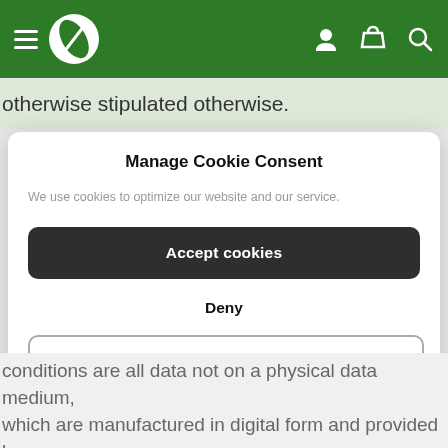Header navigation bar with hamburger menu, logo, user icon, basket icon, search icon
otherwise stipulated otherwise.
Manage Cookie Consent
We use cookies to optimize our website and our service.
Accept cookies
Deny
View preferences
conditions are all data not on a physical data medium, which are manufactured in digital form and provided by the seller under granting of certain rights of use regulated in these terms and conditions.